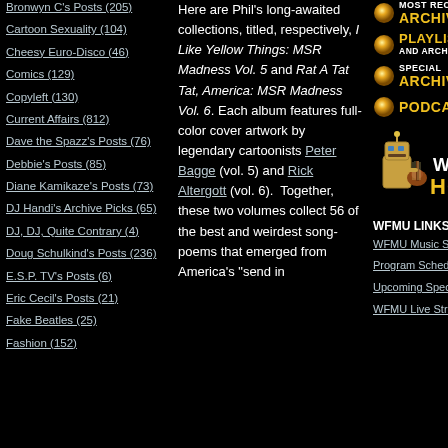Bronwyn C's Posts (205)
Cartoon Sexuality (104)
Cheesy Euro-Disco (46)
Comics (129)
Copyleft (130)
Current Affairs (812)
Dave the Spazz's Posts (76)
Debbie's Posts (85)
Diane Kamikaze's Posts (73)
DJ Handi's Archive Picks (65)
DJ, DJ, Quite Contrary (4)
Doug Schulkind's Posts (236)
E.S.P. TV's Posts (6)
Eric Cecil's Posts (21)
Fake Beatles (25)
Fashion (152)
Here are Phil's long-awaited collections, titled, respectively, I Like Yellow Things: MSR Madness Vol. 5 and Rat A Tat Tat, America: MSR Madness Vol. 6. Each album features full-color cover artwork by legendary cartoonists Peter Bagge (vol. 5) and Rick Altergott (vol. 6). Together, these two volumes collect 56 of the best and weirdest song-poems that emerged from America's "send in a poem" industry.
[Figure (infographic): Orange dot icon for Most Recent Archives navigation button]
[Figure (infographic): Orange dot icon for Playlists and Archives navigation button]
[Figure (infographic): Orange dot icon for Special Archives navigation button]
[Figure (infographic): Orange dot icon for Podcasts navigation button]
[Figure (logo): WFMU HOME logo with cartoon robot playing guitar]
WFMU LINKS
WFMU Music Search
Program Schedule
Upcoming Special Programs
WFMU Live Streams